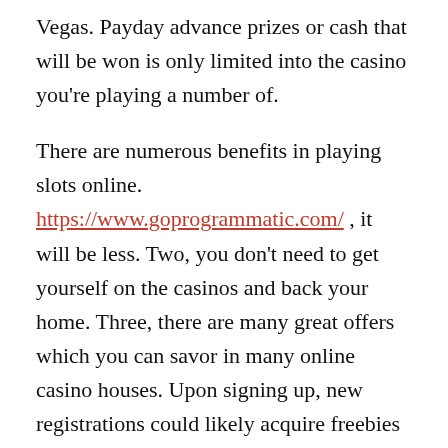Vegas. Payday advance prizes or cash that will be won is only limited into the casino you're playing a number of.
There are numerous benefits in playing slots online. https://www.goprogrammatic.com/ , it will be less. Two, you don't need to get yourself on the casinos and back your home. Three, there are many great offers which you can savor in many online casino houses. Upon signing up, new registrations could likely acquire freebies and sometime an initial amount for bankroll. Fourth, online slots are basic to fiddle with. Spinning is just a matter of a mouse click all time. You can select pay lines, adjust your bets, and funds out using only your computer mouse.